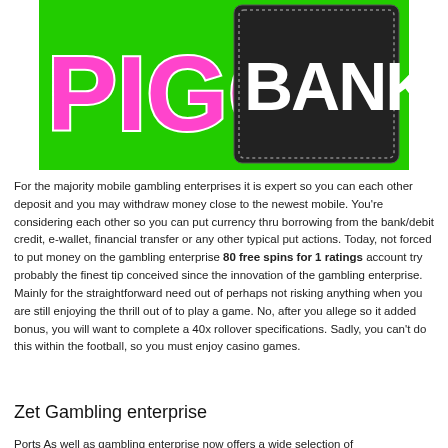[Figure (illustration): Piggy Bank game logo image — bright green background with large pink graffiti-style text 'PIGGY' on the left and white block letters 'BANK' on a dark panel on the right with dotted border.]
For the majority mobile gambling enterprises it is expert so you can each other deposit and you may withdraw money close to the newest mobile. You're considering each other so you can put currency thru borrowing from the bank/debit credit, e-wallet, financial transfer or any other typical put actions. Today, not forced to put money on the gambling enterprise 80 free spins for 1 ratings account try probably the finest tip conceived since the innovation of the gambling enterprise. Mainly for the straightforward need out of perhaps not risking anything when you are still enjoying the thrill out of to play a game. No, after you allege so it added bonus, you will want to complete a 40x rollover specifications. Sadly, you can't do this within the football, so you must enjoy casino games.
Zet Gambling enterprise
Ports As well as gambling enterprise now offers a wide selection of